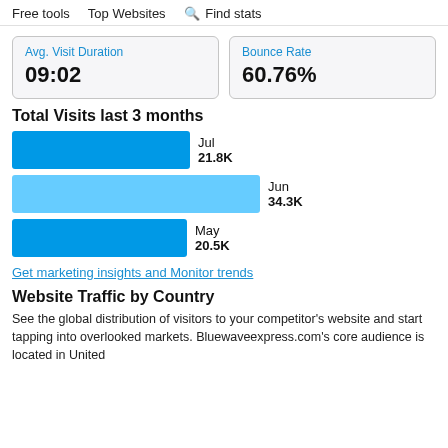Free tools   Top Websites   Find stats
| Avg. Visit Duration | Bounce Rate |
| --- | --- |
| 09:02 | 60.76% |
Total Visits last 3 months
[Figure (bar-chart): Total Visits last 3 months]
Get marketing insights and Monitor trends
Website Traffic by Country
See the global distribution of visitors to your competitor's website and start tapping into overlooked markets. Bluewaveexpress.com's core audience is located in United